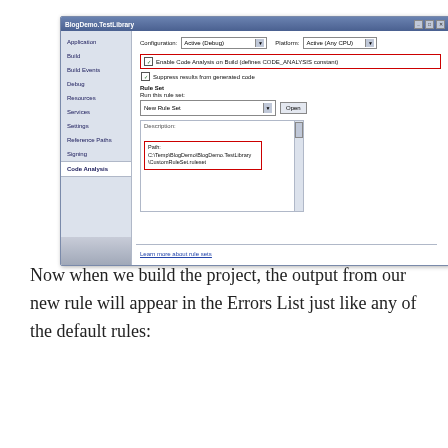[Figure (screenshot): Visual Studio project properties dialog showing Code Analysis tab with 'Enable Code Analysis on Build (defines CODE_ANALYSIS constant)' checkbox highlighted in red, and a path box highlighted in red showing C:\Temp\BlogDemo\BlogDemo.TestLibrary\CustomRuleSet.ruleset]
Now when we build the project, the output from our new rule will appear in the Errors List just like any of the default rules:
[Figure (screenshot): Visual Studio Error List window showing tabs: 0 Errors, 1 Warning, 0 Messages]